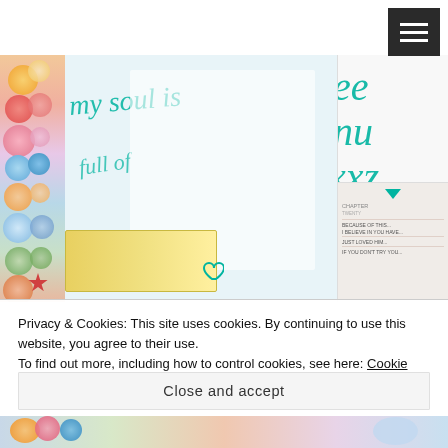[Figure (photo): Scrapbooking craft page with colorful floral decorations on the left border, teal cursive handwriting, and a card with teal lettering on the right side. Partially visible at top with white header bar.]
Privacy & Cookies: This site uses cookies. By continuing to use this website, you agree to their use.
To find out more, including how to control cookies, see here: Cookie Policy
Close and accept
[Figure (photo): Bottom strip of another scrapbooking craft image with colorful flowers and paper elements, partially visible.]